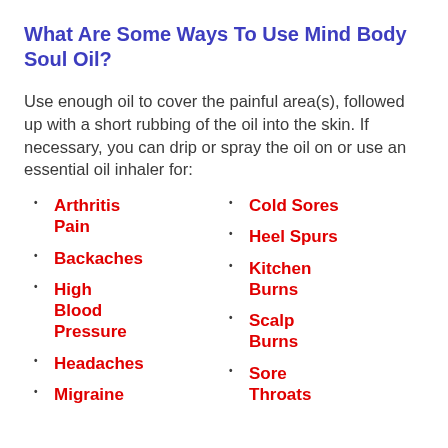What Are Some Ways To Use Mind Body Soul Oil?
Use enough oil to cover the painful area(s), followed up with a short rubbing of the oil into the skin. If necessary, you can drip or spray the oil on or use an essential oil inhaler for:
Arthritis Pain
Backaches
High Blood Pressure
Headaches
Migraine
Cold Sores
Heel Spurs
Kitchen Burns
Scalp Burns
Sore Throats